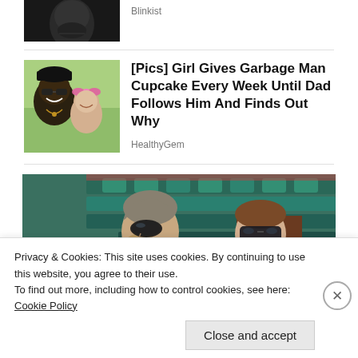[Figure (photo): Partial thumbnail of a man's face (black and white), cropped at top]
Blinkist
[Figure (photo): Thumbnail of a man with sunglasses and a little girl with a pink bow]
[Pics] Girl Gives Garbage Man Cupcake Every Week Until Dad Follows Him And Finds Out Why
HealthyGem
[Figure (photo): Large photo of a man and woman both wearing sunglasses, seated at what appears to be a sports event with teal/green seats]
Privacy & Cookies: This site uses cookies. By continuing to use this website, you agree to their use.
To find out more, including how to control cookies, see here: Cookie Policy
Close and accept